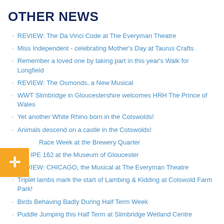OTHER NEWS
REVIEW: The Da Vinci Code at The Everyman Theatre
Miss Independent - celebrating Mother's Day at Taurus Crafts
Remember a loved one by taking part in this year's Walk for Longfield
REVIEW: The Osmonds, a New Musical
WWT Slimbridge in Gloucestershire welcomes HRH The Prince of Wales
Yet another White Rhino born in the Cotswolds!
Animals descend on a castle in the Cotswolds!
Race Week at the Brewery Quarter
The IPE 162 at the Museum of Gloucester
REVIEW: CHICAGO, the Musical at The Everyman Theatre
Triplet lambs mark the start of Lambing & Kidding at Cotswold Farm Park!
Birds Behaving Badly During Half Term Week
Puddle Jumping this Half Term at Slimbridge Wetland Centre